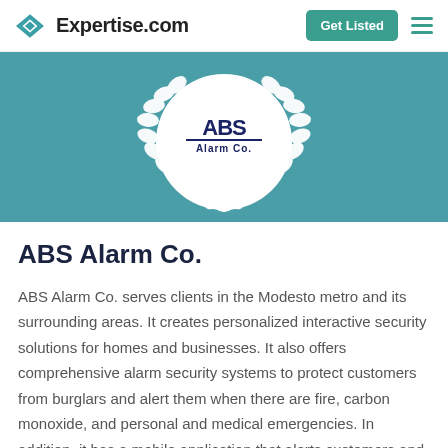Expertise.com — Get Listed
[Figure (logo): ABS Alarm Co. logo inside a white circle with laurel wreath decoration on a teal background]
ABS Alarm Co.
ABS Alarm Co. serves clients in the Modesto metro and its surrounding areas. It creates personalized interactive security solutions for homes and businesses. It also offers comprehensive alarm security systems to protect customers from burglars and alert them when there are fire, carbon monoxide, and personal and medical emergencies. In addition, it has a mobile application that alerts customers and lets them control and watch videos remotely. The